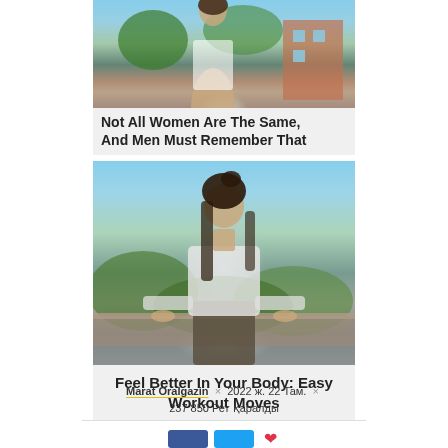[Figure (photo): Photo of a woman in white top and athletic wear outdoors with trees and a building in background]
Not All Women Are The Same, And Men Must Remember That
[Figure (photo): Photo of a woman in white long-sleeve crop top and dark olive high-waist leggings leaning against a ledge outdoors]
Feel Better In Your Body: Easy Workout Moves
Marat Oralgazin × 2022 ж. 22 Там. × 237 850 Рет қаралды